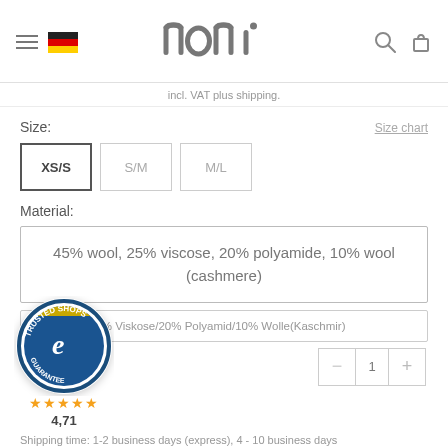[Figure (logo): noni brand logo in dark grey with hamburger menu, German flag, search and cart icons]
incl. VAT plus shipping.
Size:
Size chart
XS/S
S/M
M/L
Material:
45% wool, 25% viscose, 20% polyamide, 10% wool (cashmere)
45% Wolle/25% Viskose/20% Polyamid/10% Wolle(Kaschmir)
[Figure (logo): Trusted Shops guarantee badge with 4.71 star rating]
4,71
Shipping time: 1-2 business days (express), 4 - 10 business days